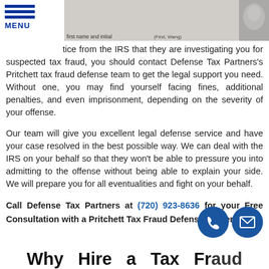MENU
[Figure (photo): Header image showing a tax form with fields for first name and initial]
...you get a notice from the IRS that they are investigating you for suspected tax fraud, you should contact Defense Tax Partners's Pritchett tax fraud defense team to get the legal support you need. Without one, you may find yourself facing fines, additional penalties, and even imprisonment, depending on the severity of your offense.
Our team will give you excellent legal defense service and have your case resolved in the best possible way. We can deal with the IRS on your behalf so that they won't be able to pressure you into admitting to the offense without being able to explain your side. We will prepare you for all eventualities and fight on your behalf.
Call Defense Tax Partners at (720) 923-8636 for your Free Consultation with a Pritchett Tax Fraud Defense lawyer!
Why Hire a Tax Fraud